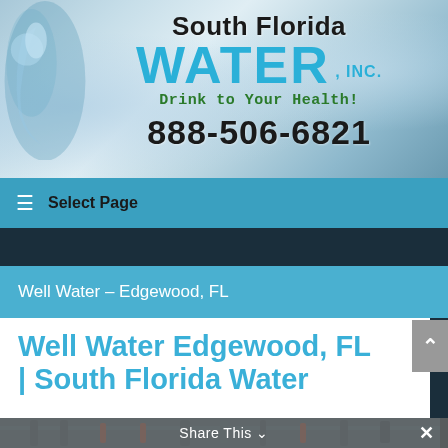[Figure (logo): South Florida Water Inc. logo with water background, blue WATER text, green tagline 'Drink to Your Health!' and phone number 888-506-6821]
Select Page
Well Water – Edgewood, FL
Well Water Edgewood, FL | South Florida Water
[Figure (photo): Industrial water pipes and filtration equipment inside a facility]
Share This